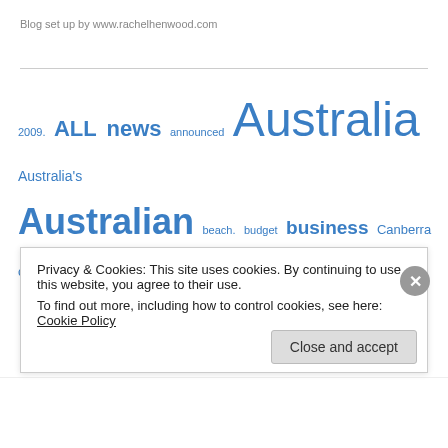Blog set up by www.rachelhenwood.com
[Figure (infographic): Tag cloud with blue hyperlinked words of varying sizes: 2009, ALL news, announced, Australia, Australia's, Australian, beach., budget, business, Canberra, children, city, community, decision, DIAC, Economic, education, expected, experience, family, federal, government, future, government, growth, home, house, immigration, Immigration News, including, increase, interest rates, international, job, Living in Perth, Local News]
Privacy & Cookies: This site uses cookies. By continuing to use this website, you agree to their use.
To find out more, including how to control cookies, see here: Cookie Policy
Close and accept